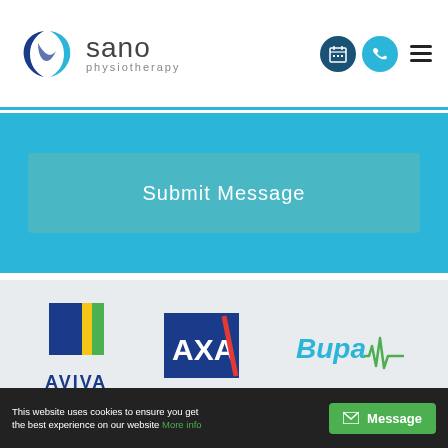[Figure (logo): Sano Physiotherapy logo with circular icon and text]
[Figure (screenshot): Submit Message button on blue background]
[Figure (logo): Aviva insurance logo]
[Figure (logo): AXA insurance logo]
[Figure (logo): Bupa insurance logo]
This website uses cookies to ensure you get the best experience on our website More info
Message